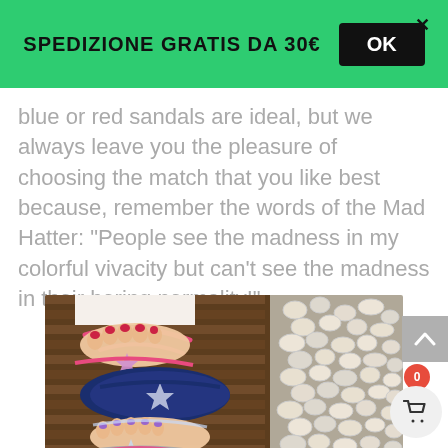SPEDIZIONE GRATIS DA 30€  OK
blue or red sandals are ideal, but we always leave you the pleasure of choosing the match that you like best because, remember the words of the Mad Hatter: “People see the madness in my colorful vivacity but can’t see the madness in their boring normality!”
[Figure (photo): Photo of feet wearing sandals with star toe details, one pink sandal and one clear/glitter sandal, and a navy blue star sandal, photographed against wooden slats and stone background]